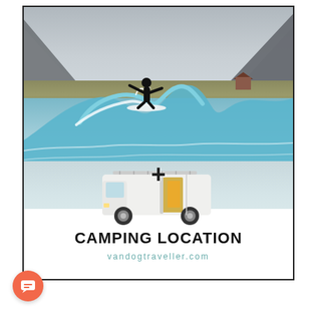[Figure (photo): Composite image showing a surfer riding a large wave in a scenic coastal location with mountains in the background, a white camper van parked on the beach below, a large plus sign, text reading 'CAMPING LOCATION' in bold black, and the website URL 'vandogtraveller.com' in teal below. A red circular chat icon appears in the bottom-left corner outside the image frame.]